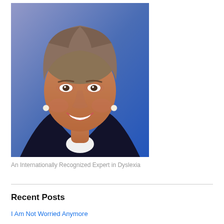[Figure (photo): Professional headshot of a smiling middle-aged woman with short gray-brown hair, wearing a dark navy blazer over a white top, with pearl earrings, against a blue-purple gradient background.]
An Internationally Recognized Expert in Dyslexia
Recent Posts
I Am Not Worried Anymore